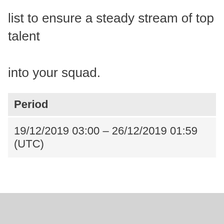list to ensure a steady stream of top talent into your squad.
| Period |
| --- |
| 19/12/2019 03:00 – 26/12/2019 01:59 (UTC) |